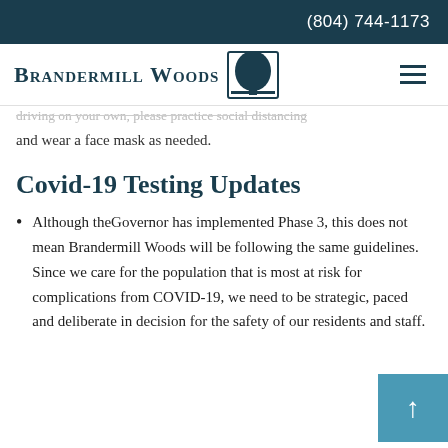(804) 744-1173
[Figure (logo): Brandermill Woods logo with tree illustration and hamburger menu icon]
You do not sign-up in the Bluebook. Residents going ... face mask ... driving on your own, please practice social distancing and wear a face mask as needed.
Covid-19 Testing Updates
Although theGovernor has implemented Phase 3, this does not mean Brandermill Woods will be following the same guidelines. Since we care for the population that is most at risk for complications from COVID-19, we need to be strategic, paced and deliberate in decision for the safety of our residents and staff.